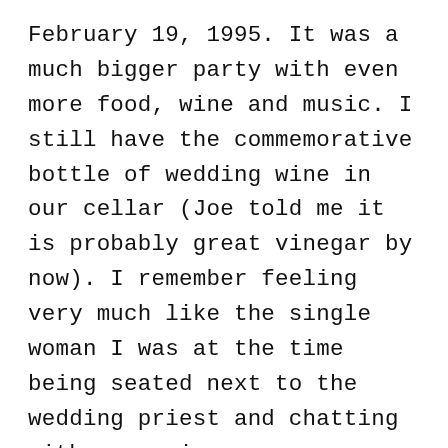February 19, 1995. It was a much bigger party with even more food, wine and music. I still have the commemorative bottle of wedding wine in our cellar (Joe told me it is probably great vinegar by now). I remember feeling very much like the single woman I was at the time being seated next to the wedding priest and chatting with very nice young gay man on the other side of me, while watching Lidia cut a rug on the dance floor. She was the Pride of the Party along with the Bride. What a wedding!!!
Finally, I recall running into Lidia at the Milan Airport in 2009. David and I were on a